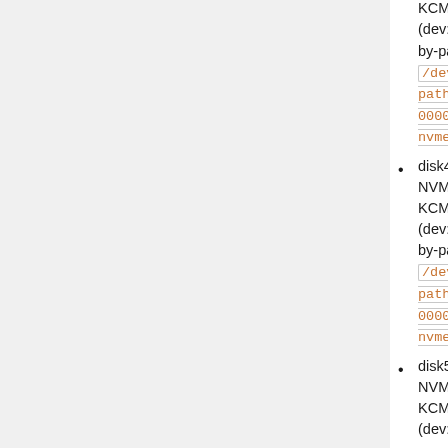KCM6DRUL3T84 (dev: /dev/disk3, by-path: /dev/disk/by-path/pci-0000:52:00.0-nvme-1)
disk4, 3.84 TB SSD NVME Kioxia KCM6DRUL3T84 (dev: /dev/disk4, by-path: /dev/disk/by-path/pci-0000:ca:00.0-nvme-1)
disk5, 3.84 TB SSD NVME Kioxia KCM6DRUL3T84 (dev: /dev/disk5,